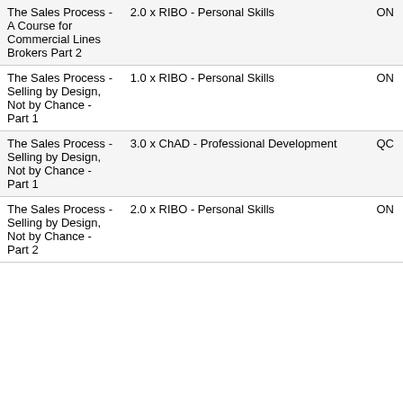| Course | Credit | Province |
| --- | --- | --- |
| The Sales Process - A Course for Commercial Lines Brokers Part 2 | 2.0 x RIBO - Personal Skills | ON |
| The Sales Process - Selling by Design, Not by Chance - Part 1 | 1.0 x RIBO - Personal Skills | ON |
| The Sales Process - Selling by Design, Not by Chance - Part 1 | 3.0 x ChAD - Professional Development | QC |
| The Sales Process - Selling by Design, Not by Chance - Part 2 | 2.0 x RIBO - Personal Skills | ON |